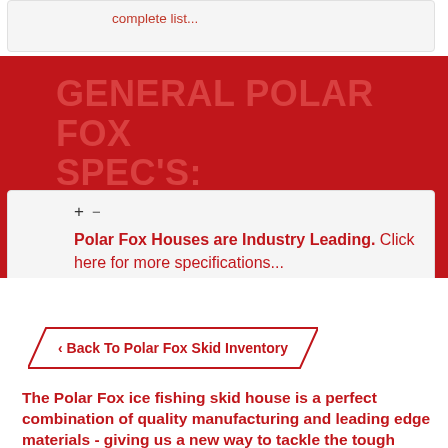complete list...
GENERAL POLAR FOX SPEC'S:
Polar Fox Houses are Industry Leading. Click here for more specifications...
Back To Polar Fox Skid Inventory
The Polar Fox ice fishing skid house is a perfect combination of quality manufacturing and leading edge materials - giving us a new way to tackle the tough winter and ice conditions in